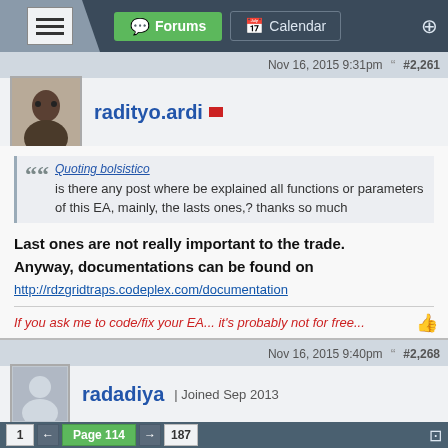Forums | Calendar
Nov 16, 2015 9:31pm  #2,261
radityo.ardi
Quoting bolsistico
is there any post where be explained all functions or parameters of this EA, mainly, the lasts ones,? thanks so much
Last ones are not really important to the trade.
Anyway, documentations can be found on
http://rdzgridtraps.codeplex.com/documentation
If you ask me to code/fix your EA... it's probably not for free...
Nov 16, 2015 9:40pm  #2,268
radadiya | Joined Sep 2013
1  ←  Page 114  →  187